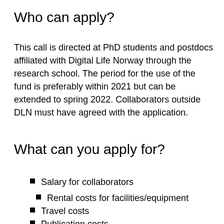Who can apply?
This call is directed at PhD students and postdocs affiliated with Digital Life Norway through the research school. The period for the use of the fund is preferably within 2021 but can be extended to spring 2022. Collaborators outside DLN must have agreed with the application.
What can you apply for?
Salary for collaborators
Rental costs for facilities/equipment
Travel costs
Publication costs